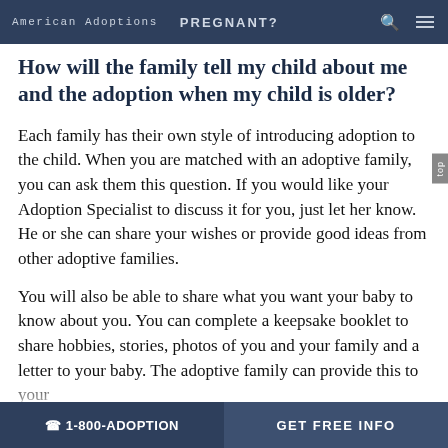American Adoptions   PREGNANT?
How will the family tell my child about me and the adoption when my child is older?
Each family has their own style of introducing adoption to the child. When you are matched with an adoptive family, you can ask them this question. If you would like your Adoption Specialist to discuss it for you, just let her know. He or she can share your wishes or provide good ideas from other adoptive families.
You will also be able to share what you want your baby to know about you. You can complete a keepsake booklet to share hobbies, stories, photos of you and your family and a letter to your baby. The adoptive family can provide this to your
☏ 1-800-ADOPTION   GET FREE INFO